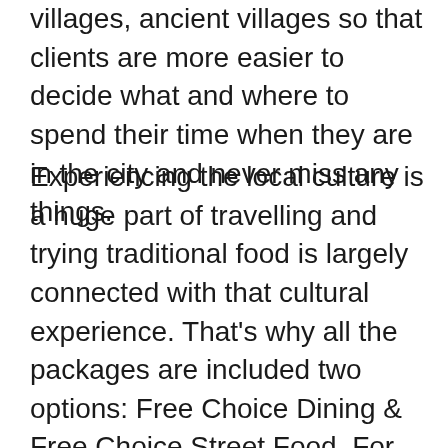villages, ancient villages so that clients are more easier to decide what and where to spend their time when they are in the city and never miss any things.
Experiencing the local culture is a huge part of travelling and trying traditional food is largely connected with that cultural experience. That's why all the packages are included two options: Free Choice Dining & Free Choice Street Food. For afternoon break, the " Free Choice Street Food" offers clients to taste local food with local people at a very local restaurants while the " Free Choice Dining" offers choices of dining at some of the best local restaurants available. Tasting a vegetarian food like the Vietnamese Buddhist is an option and worth to try.